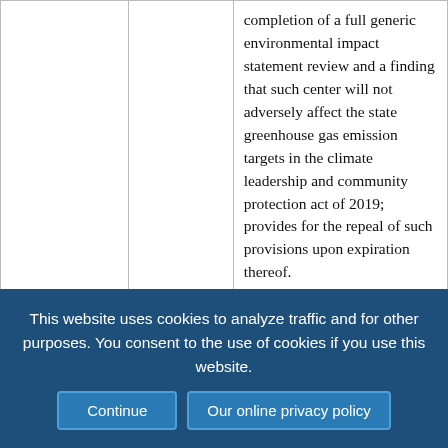|  |  | completion of a full generic environmental impact statement review and a finding that such center will not adversely affect the state greenhouse gas emission targets in the climate leadership and community protection act of 2019; provides for the repeal of such provisions upon expiration thereof. |
| New York | AB 7742
Substituted 6/2/22 | Includes unclaimed virtual currency as abandoned property; authorizes |
This website uses cookies to analyze traffic and for other purposes. You consent to the use of cookies if you use this website. Continue | Our online privacy policy